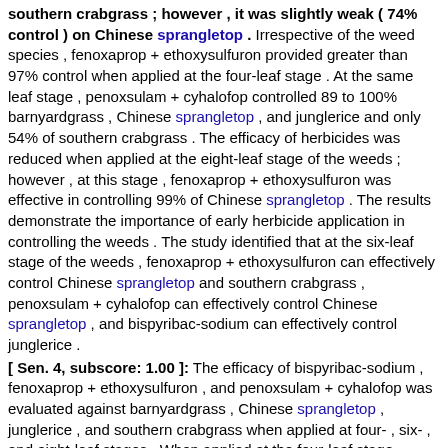southern crabgrass ; however , it was slightly weak ( 74% control ) on Chinese sprangletop . Irrespective of the weed species , fenoxaprop + ethoxysulfuron provided greater than 97% control when applied at the four-leaf stage . At the same leaf stage , penoxsulam + cyhalofop controlled 89 to 100% barnyardgrass , Chinese sprangletop , and junglerice and only 54% of southern crabgrass . The efficacy of herbicides was reduced when applied at the eight-leaf stage of the weeds ; however , at this stage , fenoxaprop + ethoxysulfuron was effective in controlling 99% of Chinese sprangletop . The results demonstrate the importance of early herbicide application in controlling the weeds . The study identified that at the six-leaf stage of the weeds , fenoxaprop + ethoxysulfuron can effectively control Chinese sprangletop and southern crabgrass , penoxsulam + cyhalofop can effectively control Chinese sprangletop , and bispyribac-sodium can effectively control junglerice .
[ Sen. 4, subscore: 1.00 ]: The efficacy of bispyribac-sodium , fenoxaprop + ethoxysulfuron , and penoxsulam + cyhalofop was evaluated against barnyardgrass , Chinese sprangletop , junglerice , and southern crabgrass when applied at four- , six- , and eight-leaf stages . When applied at the four-leaf stage , bispyribac-sodium provided greater than 97% control of barnyardgrass , junglerice , and southern crabgrass ; however , it was slightly weak ( 74% control ) on Chinese sprangletop . Irrespective of the weed species , fenoxaprop + ethoxysulfuron provided greater than 97% control when applied at the four-leaf stage . At the same leaf stage , penoxsulam + cyhalofop controlled 89 to 100% barnyardgrass , Chinese sprangletop , and junglerice and only 54% of southern crabgrass . The efficacy of herbicides was reduced when applied at the eight-leaf stage of the weeds ; however , at this stage , fenoxaprop + ethoxysulfuron was effective in controlling 99% of Chinese sprangletop . The results demonstrate the importance of early herbicide